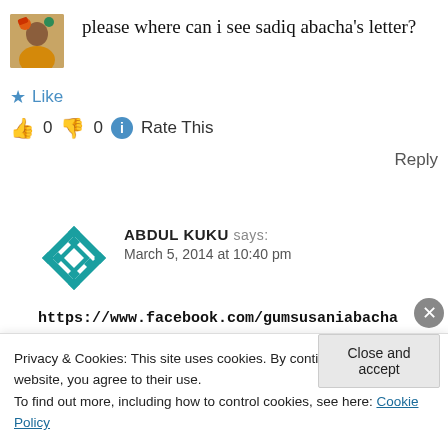[Figure (photo): User avatar photo of a person with colorful clothing]
please where can i see sadiq abacha's letter?
★ Like
👍 0 👎 0 ℹ Rate This
Reply
[Figure (logo): Teal geometric diamond pattern avatar for Abdul Kuku]
ABDUL KUKU says: March 5, 2014 at 10:40 pm
https://www.facebook.com/gumsusaniabachafref=ts Check his sister's facebook page. The
Privacy & Cookies: This site uses cookies. By continuing to use this website, you agree to their use. To find out more, including how to control cookies, see here: Cookie Policy
Close and accept